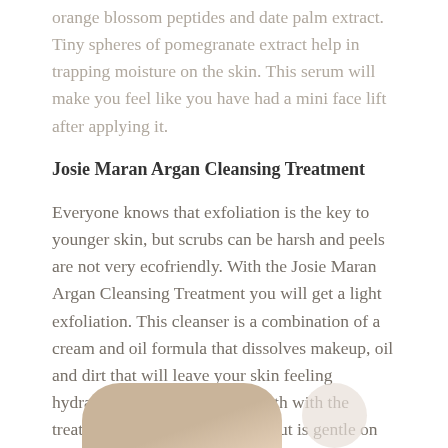orange blossom peptides and date palm extract. Tiny spheres of pomegranate extract help in trapping moisture on the skin. This serum will make you feel like you have had a mini face lift after applying it.
Josie Maran Argan Cleansing Treatment
Everyone knows that exfoliation is the key to younger skin, but scrubs can be harsh and peels are not very ecofriendly. With the Josie Maran Argan Cleansing Treatment you will get a light exfoliation. This cleanser is a combination of a cream and oil formula that dissolves makeup, oil and dirt that will leave your skin feeling hydrated. You will receive a cloth with the treatment that will remove dirt but is gentle on your skin.
Jurlique Purifying Foaming Cleanser
If your
[Figure (photo): Partial view of a product bottle and a round object, likely product packaging for Jurlique Purifying Foaming Cleanser]